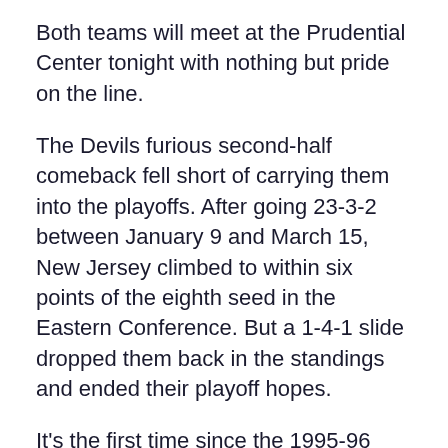Both teams will meet at the Prudential Center tonight with nothing but pride on the line.
The Devils furious second-half comeback fell short of carrying them into the playoffs. After going 23-3-2 between January 9 and March 15, New Jersey climbed to within six points of the eighth seed in the Eastern Conference. But a 1-4-1 slide dropped them back in the standings and ended their playoff hopes.
It's the first time since the 1995-96 season that New Jersey won't participate in the postseason.
The Maple Leafs set a new franchise record in missing their sixth straight postseason. An 18-7-6 run in their last 31 games kept them in the hunt, but the Buffalo Sabres' defeat of the Tampa Bay Lightning ended their postseason dreams.